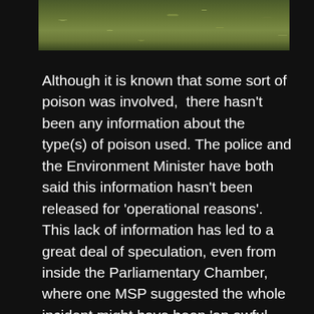[Figure (photo): Partial view of a grassy/mossy outdoor landscape, likely moorland or hillside, shown as a cropped strip at the top of the page.]
Although it is known that some sort of poison was involved,  there hasn't been any information about the type(s) of poison used. The police and the Environment Minister have both said this information hasn't been released for ‘operational reasons’. This lack of information has led to a great deal of speculation, even from inside the Parliamentary Chamber, where one MSP suggested the whole incident might have been ‘an awful accident’ – perhaps from, he suggested, unintentionally-contaminated meat at the Tollie Red Kite feeding station.